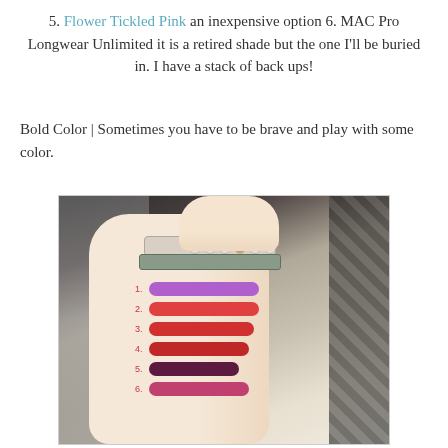5. Flower Tickled Pink an inexpensive option 6. MAC Pro Longwear Unlimited it is a retired shade but the one I'll be buried in. I have a stack of back ups!
Bold Color | Sometimes you have to be brave and play with some color.
[Figure (photo): A wrist/forearm showing six lipstick swatches numbered 1-6, ranging from purple to red to dark burgundy to pink. The wrist has stacked bracelets including a white leather strap and a beaded bracelet.]